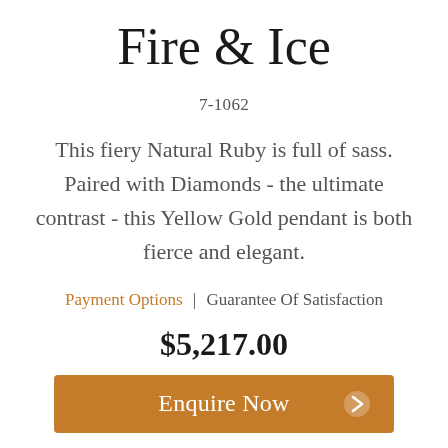Fire & Ice
7-1062
This fiery Natural Ruby is full of sass. Paired with Diamonds - the ultimate contrast - this Yellow Gold pendant is both fierce and elegant.
Payment Options | Guarantee Of Satisfaction
$5,217.00
Enquire Now